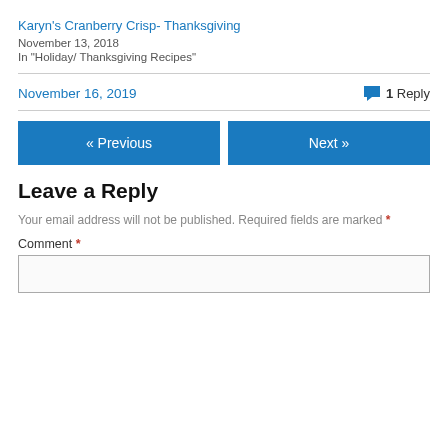Karyn's Cranberry Crisp- Thanksgiving
November 13, 2018
In "Holiday/ Thanksgiving Recipes"
November 16, 2019
1 Reply
« Previous
Next »
Leave a Reply
Your email address will not be published. Required fields are marked *
Comment *